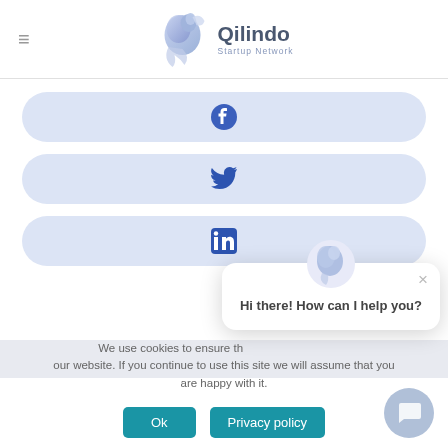[Figure (logo): Qilindo Startup Network logo with a stylized blue horse/wave icon and the text 'Qilindo' with 'Startup Network' below]
[Figure (screenshot): Three social media share buttons with rounded pill shape in light blue/lavender: Facebook icon, Twitter bird icon, LinkedIn 'in' icon]
[Figure (screenshot): Chat popup with Qilindo swirl icon, close X button, and message 'Hi there! How can I help you?']
We use cookies to ensure the best experience on our website. If you continue to use this site we will assume that you are happy with it.
[Figure (screenshot): Two buttons: 'Ok' and 'Privacy policy' in teal/blue color]